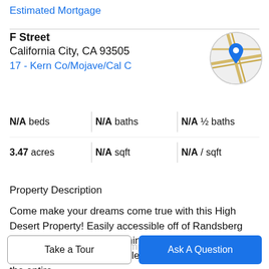Estimated Mortgage
F Street
California City, CA 93505
17 - Kern Co/Mojave/Cal C
[Figure (map): Circular map thumbnail showing a location pin on a street map]
| Stat | Value |
| --- | --- |
| beds | N/A |
| baths | N/A |
| ½ baths | N/A |
| acres | 3.47 |
| sqft | N/A |
| / sqft | N/A |
Property Description
Come make your dreams come true with this High Desert Property! Easily accessible off of Randsberg Mojave Road. Located within the major Off Roading Areas that can provide endless hours of recreation for the entire family. Create the ideal Campsite that you can return to